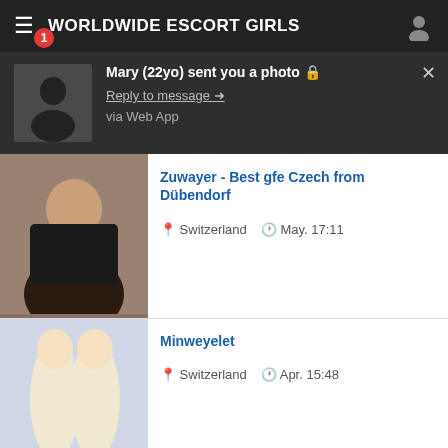WORLDWIDE ESCORT GIRLS
Mary (22yo) sent you a photo 🔒
Reply to message →
via Web App
Zuwayer - Best gfe Czech from Dübendorf
📍 Switzerland 🕐 May. 17:11
Minweyelet
📍 Switzerland 🕐 Apr. 15:48
Lena Lis - tall from Wettingen
📍 Switzerland 🕐 May. 22:23
Lill Terbe new